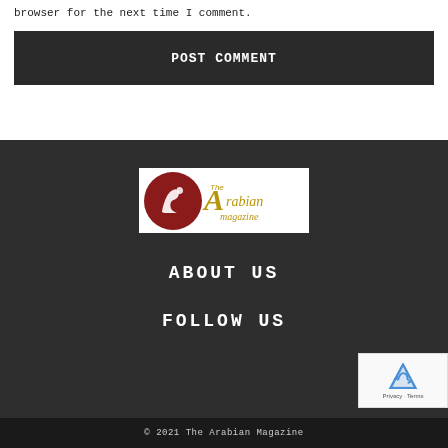browser for the next time I comment.
POST COMMENT
[Figure (logo): The Arabian Magazine logo with horse head silhouette in red circle and gold script text]
ABOUT US
FOLLOW US
© 2021 The Arabian Magazine